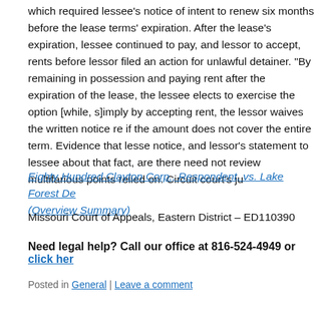which required lessee's notice of intent to renew six months before the lease terms' expiration. After the lease's expiration, lessee continued to pay, and lessor to accept, rents before lessor filed an action for unlawful detainer. "By remaining in possession and paying rent after the expiration of the lease, the lessee elects to exercise the option [while, s]imply by accepting rent, the lessor waives the written notice re if the amount does not cover the entire term. Evidence that lesse notice, and lessor's statement to lessee about that fact, are there need not review multifarious points relied on. Circuit court's ju
Eighty Hundred Clayton Corp., Respondent, vs. Lake Forest De (Overview Summary)
Missouri Court of Appeals, Eastern District – ED110390
Need legal help? Call our office at 816-524-4949 or click her
Posted in General | Leave a comment